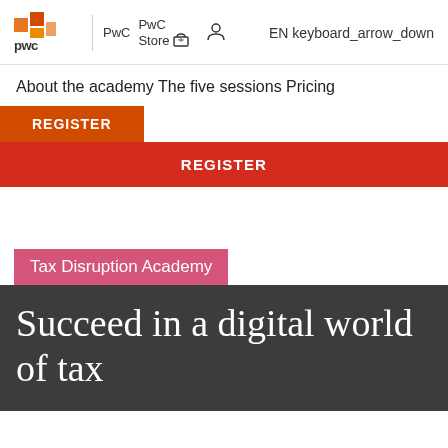[Figure (logo): PwC logo with orange/red geometric shapes and 'pwc' text]
PwC Store
EN keyboard_arrow_down
About the academy The five sessions Pricing
REGISTER
REGISTER
Tax Disruption Academy
Succeed in a digital world of tax